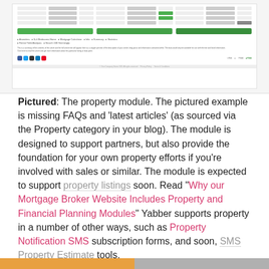[Figure (screenshot): Screenshot of a property module webpage showing a table with rows, three green buttons (Full Details, Search More, Property Search), navigation links, body text, social media icons, and partner logos]
Pictured: The property module. The pictured example is missing FAQs and 'latest articles' (as sourced via the Property category in your blog). The module is designed to support partners, but also provide the foundation for your own property efforts if you're involved with sales or similar. The module is expected to support property listings soon. Read "Why our Mortgage Broker Website Includes Property and Financial Planning Modules" Yabber supports property in a number of other ways, such as Property Notification SMS subscription forms, and soon, SMS Property Estimate tools.